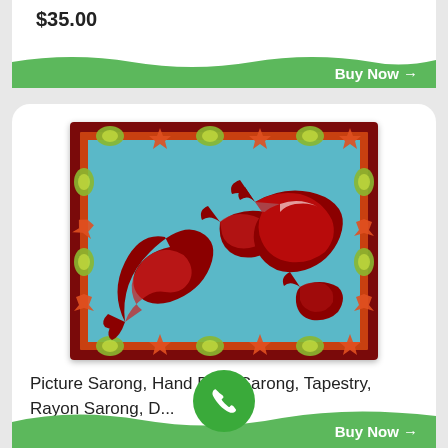$35.00
Buy Now →
[Figure (photo): Hand batik sarong with dolphin design on teal/light blue background, surrounded by dark red border with green shells and red/orange starfish]
Picture Sarong, Hand Batki Sarong, Tapestry, Rayon Sarong, D...
★★★★★
$48.00
Buy Now →